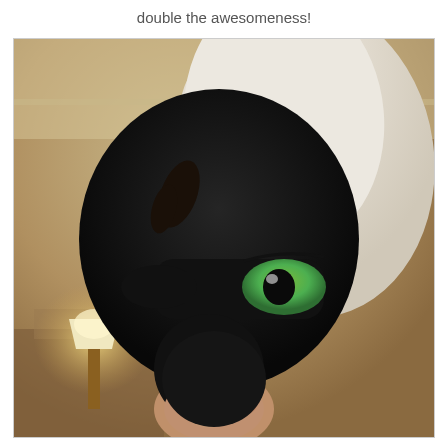double the awesomeness!
[Figure (photo): Person wearing a black facial sheet mask and a white towel on their head, with green eyes visible through the mask cutout, posed in a hotel room with warm lighting and a lamp visible in the background.]